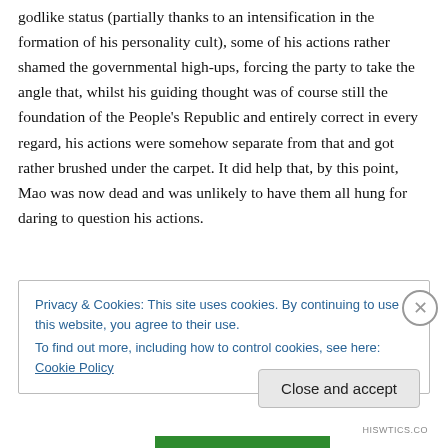godlike status (partially thanks to an intensification in the formation of his personality cult), some of his actions rather shamed the governmental high-ups, forcing the party to take the angle that, whilst his guiding thought was of course still the foundation of the People's Republic and entirely correct in every regard, his actions were somehow separate from that and got rather brushed under the carpet. It did help that, by this point, Mao was now dead and was unlikely to have them all hung for daring to question his actions.
Privacy & Cookies: This site uses cookies. By continuing to use this website, you agree to their use.
To find out more, including how to control cookies, see here: Cookie Policy
Close and accept
HISWTICS.CO